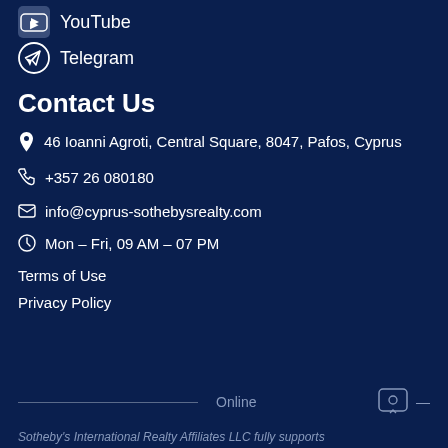YouTube
Telegram
Contact Us
46 Ioanni Agroti, Central Square, 8047, Pafos, Cyprus
+357 26 080180
info@cyprus-sothebysrealty.com
Mon – Fri, 09 AM – 07 PM
Terms of Use
Privacy Policy
Online
Sotheby's International Realty Affiliates LLC fully supports